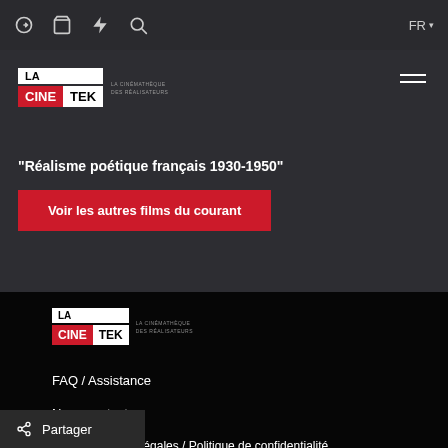Navigation icons: login, cart, flash/bolt, search | FR language selector
[Figure (logo): La Cinetek logo - LA box white, CINE red, TEK white, subtitle: La Cinémathèque des Réalisateurs]
"Réalisme poétique français 1930-1950"
Voir les autres films du courant
[Figure (logo): La Cinetek logo footer version]
FAQ / Assistance
Nous contacter
CGU / Mentions légales / Politique de confidentialité
Partager